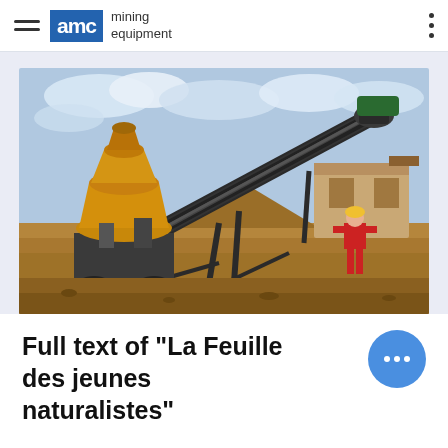AMC mining equipment
[Figure (photo): Outdoor mining site with a large cone crusher (gold/yellow colored) on the left, a diagonal conveyor belt carrying material in the center, a storage building in the background, and a worker in red overalls on the right. Sandy/earthen ground with piles of crushed material.]
Full text of "La Feuille des jeunes naturalistes"